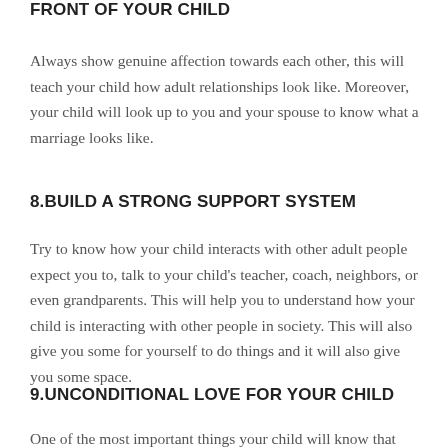FRONT OF YOUR CHILD
Always show genuine affection towards each other, this will teach your child how adult relationships look like. Moreover, your child will look up to you and your spouse to know what a marriage looks like.
8.BUILD A STRONG SUPPORT SYSTEM
Try to know how your child interacts with other adult people expect you to, talk to your child's teacher, coach, neighbors, or even grandparents. This will help you to understand how your child is interacting with other people in society. This will also give you some for yourself to do things and it will also give you some space.
9.UNCONDITIONAL LOVE FOR YOUR CHILD
One of the most important things your child will know that